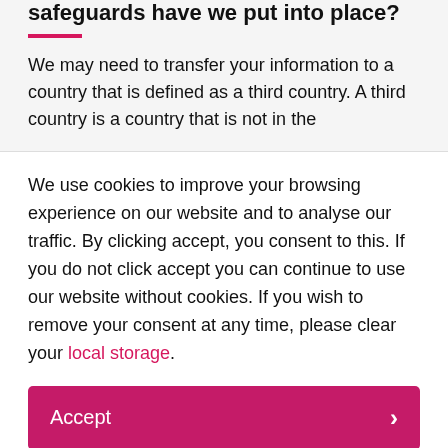safeguards have we put into place?
We may need to transfer your information to a country that is defined as a third country. A third country is a country that is not in the
We use cookies to improve your browsing experience on our website and to analyse our traffic. By clicking accept, you consent to this. If you do not click accept you can continue to use our website without cookies. If you wish to remove your consent at any time, please clear your local storage.
Accept